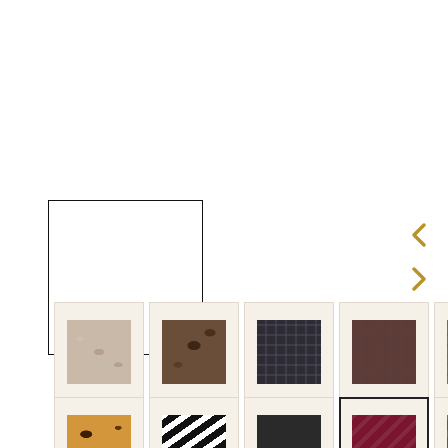[Figure (illustration): White square with black border - main product image placeholder]
[Figure (illustration): Navigation arrows (left/right chevrons) in gold color]
[Figure (illustration): Row 1 of 5 fabric/pattern thumbnails: light snake, dark snake, dark plaid, brown plaid, olive plaid]
[Figure (illustration): Row 2 of 5 fabric/pattern thumbnails: leopard, zebra, solid dark, burgundy diagonal (selected), teal diagonal]